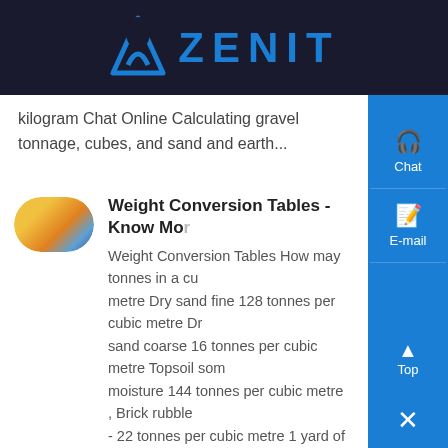ZENIT
kilogram Chat Online Calculating gravel tonnage, cubes, and sand and earth...
[Figure (photo): Yellow industrial equipment thumbnail]
Weight Conversion Tables - Know More
Weight Conversion Tables How may tonnes in a cubic metre Dry sand fine 128 tonnes per cubic metre Dry sand coarse 16 tonnes per cubic metre Topsoil some moisture 144 tonnes per cubic metre , Brick rubble - 22 tonnes per cubic metre 1 yard of soil = 145 tonnes soil, please don`t ask how i worked it out...
[Figure (photo): Dark material/aggregate thumbnail]
CUBIC METER and Weight or Measurement - Know More
A cubic meter is a measurement of volume, that tak